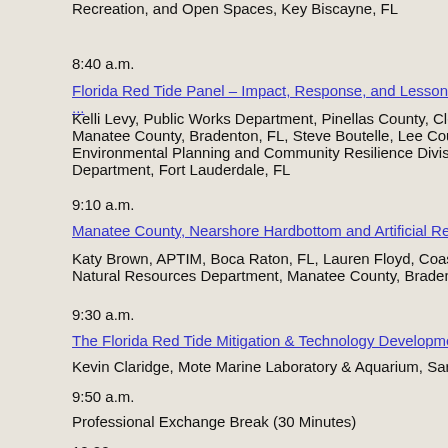Recreation, and Open Spaces, Key Biscayne, FL
8:40 a.m.
Florida Red Tide Panel – Impact, Response, and Lessons Learned
Kelli Levy, Public Works Department, Pinellas County, Clearwater, Manatee County, Bradenton, FL, Steve Boutelle, Lee County Natural Resources, Environmental Planning and Community Resilience Division, Broward Department, Fort Lauderdale, FL
9:10 a.m.
Manatee County, Nearshore Hardbottom and Artificial Reef Red Tide
Katy Brown, APTIM, Boca Raton, FL, Lauren Floyd, Coastal Protection, Natural Resources Department, Manatee County, Bradenton, FL
9:30 a.m.
The Florida Red Tide Mitigation & Technology Development Initiative
Kevin Claridge, Mote Marine Laboratory & Aquarium, Sarasota, FL
9:50 a.m.
Professional Exchange Break (30 Minutes)
10:20 a.m.
The Florida Coastal Mapping Program: Coordinating High-Resolution